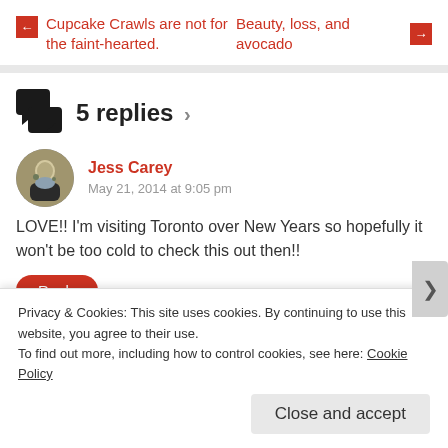← Cupcake Crawls are not for the faint-hearted.
Beauty, loss, and avocado →
5 replies ›
Jess Carey
May 21, 2014 at 9:05 pm
LOVE!! I'm visiting Toronto over New Years so hopefully it won't be too cold to check this out then!!
Reply
Privacy & Cookies: This site uses cookies. By continuing to use this website, you agree to their use.
To find out more, including how to control cookies, see here: Cookie Policy
Close and accept